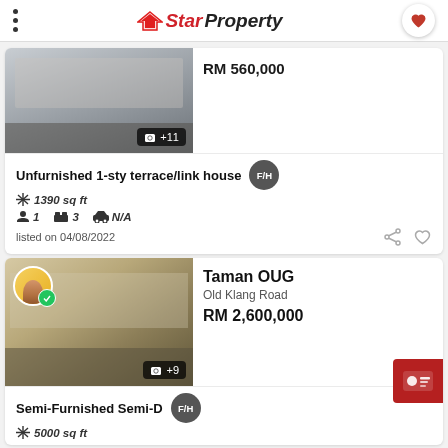StarProperty
[Figure (photo): Property interior photo - kitchen/room with +11 more photos badge]
RM 560,000
Unfurnished 1-sty terrace/link house F/H
1390 sq ft
1  3  N/A
listed on 04/08/2022
[Figure (photo): Property interior photo - furnished living/dining room with +9 more photos badge, agent avatar with green checkmark]
Taman OUG
Old Klang Road
RM 2,600,000
Semi-Furnished Semi-D F/H
5000 sq ft